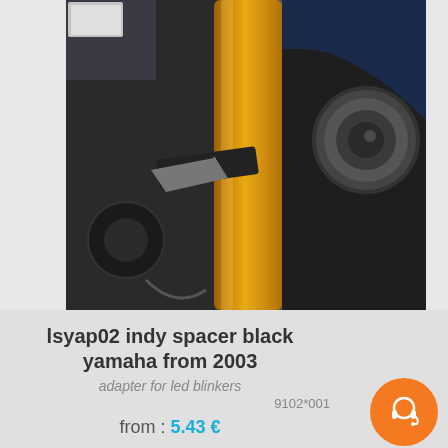[Figure (photo): Close-up photo of a motorcycle front fork assembly showing a golden/orange colored fork tube with a small LED turn signal indicator attached via a black adapter/spacer, and a dark mounting socket visible on the right side.]
lsyap02 indy spacer black yamaha from 2003
adapter for led blinkers
9102*001
from : 5.43 €